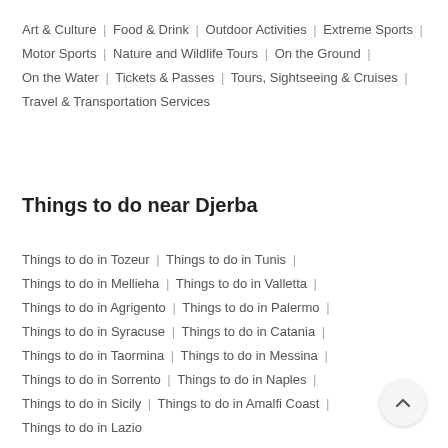Art & Culture | Food & Drink | Outdoor Activities | Extreme Sports | Motor Sports | Nature and Wildlife Tours | On the Ground | On the Water | Tickets & Passes | Tours, Sightseeing & Cruises | Travel & Transportation Services
Things to do near Djerba
Things to do in Tozeur | Things to do in Tunis | Things to do in Mellieha | Things to do in Valletta | Things to do in Agrigento | Things to do in Palermo | Things to do in Syracuse | Things to do in Catania | Things to do in Taormina | Things to do in Messina | Things to do in Sorrento | Things to do in Naples | Things to do in Sicily | Things to do in Amalfi Coast | Things to do in Lazio